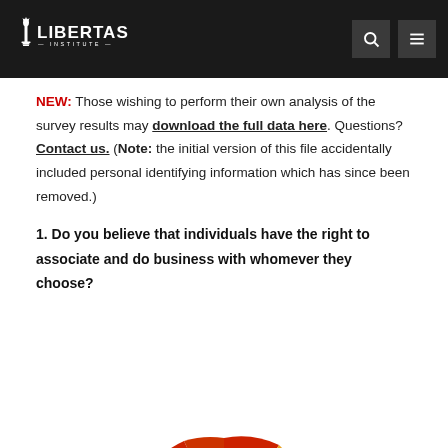Libertas Institute
NEW: Those wishing to perform their own analysis of the survey results may download the full data here. Questions? Contact us. (Note: the initial version of this file accidentally included personal identifying information which has since been removed.)
1. Do you believe that individuals have the right to associate and do business with whomever they choose?
[Figure (pie-chart): Partial pie chart visible at the bottom of the page showing segments in red, gold/yellow, and green colors]